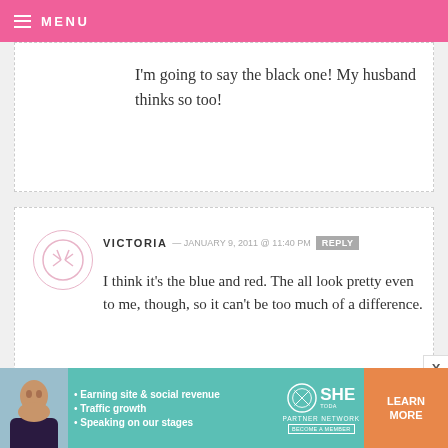MENU
I'm going to say the black one! My husband thinks so too!
VICTORIA — JANUARY 9, 2011 @ 11:40 PM REPLY
I think it's the blue and red. The all look pretty even to me, though, so it can't be too much of a difference.
JESSICA — JANUARY 9, 2011 @ 11:40 PM REPLY
[Figure (infographic): SHE Partner Network advertisement banner with photo of person, bullet points about earning site & social revenue, traffic growth, speaking on stages, SHE logo, Learn More button]